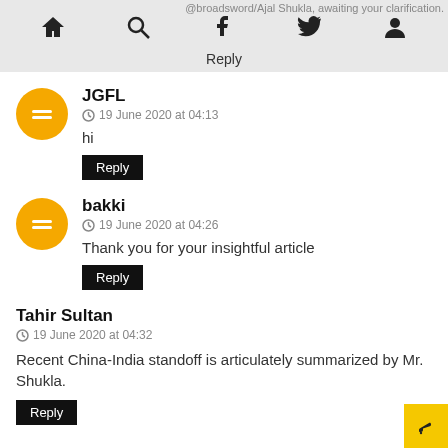@broadsword/Ajal Shukla, awaiting your clarification. Reply
JGFL
19 June 2020 at 04:13
hi
Reply
bakki
19 June 2020 at 04:26
Thank you for your insightful article
Reply
Tahir Sultan
19 June 2020 at 04:32
Recent China-India standoff is articulately summarized by Mr. Shukla.
Reply